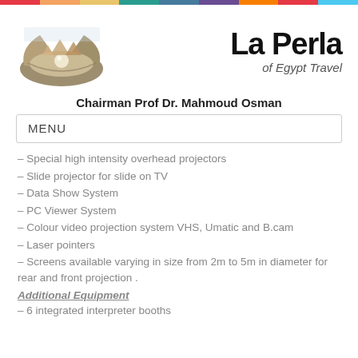[Figure (logo): La Perla of Egypt Travel logo with oyster shell and pyramids, pearl inside]
La Perla of Egypt Travel
Chairman Prof Dr. Mahmoud Osman
MENU
– Special high intensity overhead projectors
– Slide projector for slide on TV
– Data Show System
– PC Viewer System
– Colour video projection system VHS, Umatic and B.cam
– Laser pointers
– Screens available varying in size from 2m to 5m in diameter for rear and front projection .
Additional Equipment
– 6 integrated interpreter booths